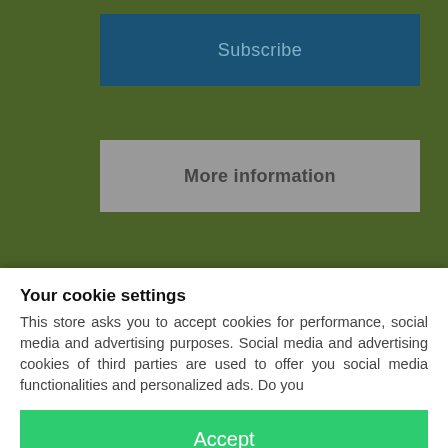Subscribe
More information
Your cookie settings
This store asks you to accept cookies for performance, social media and advertising purposes. Social media and advertising cookies of third parties are used to offer you social media functionalities and personalized ads. Do you
Accept
Configure
Privacy & Cookie Policy
PRODUCTS